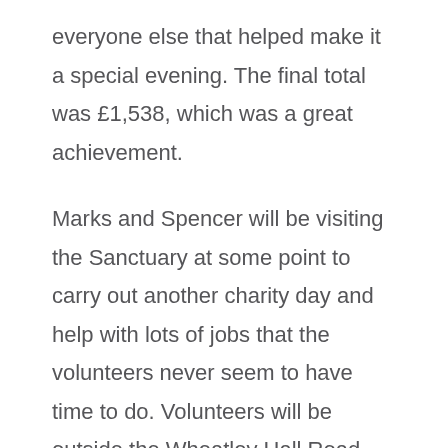everyone else that helped make it a special evening. The final total was £1,538, which was a great achievement.

Marks and Spencer will be visiting the Sanctuary at some point to carry out another charity day and help with lots of jobs that the volunteers never seem to have time to do. Volunteers will be outside the Wheatley Hall Road store every weekend in March with some of the sanctuary's resident dogs, weather permitting. It has been really super getting to know the wonderful staff and having their support. A huge thank you for all you have done for the sanctuary